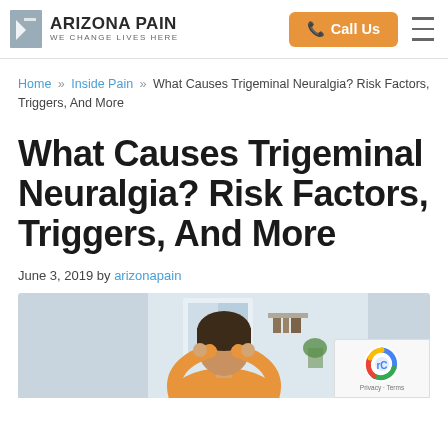Arizona Pain — We Change Lives Here | Call Us
Home » Inside Pain » What Causes Trigeminal Neuralgia? Risk Factors, Triggers, And More
What Causes Trigeminal Neuralgia? Risk Factors, Triggers, And More
June 3, 2019 by arizonapain
[Figure (photo): Woman in orange shirt pressing fingers to temples with eyes closed, appearing to be in pain from headache or trigeminal neuralgia]